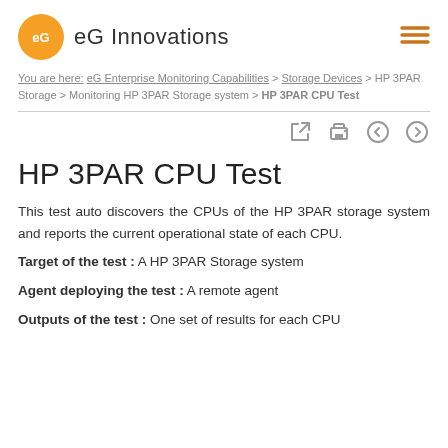eG Innovations
You are here: eG Enterprise Monitoring Capabilities > Storage Devices > HP 3PAR Storage > Monitoring HP 3PAR Storage system > HP 3PAR CPU Test
HP 3PAR CPU Test
This test auto discovers the CPUs of the HP 3PAR storage system and reports the current operational state of each CPU.
Target of the test : A HP 3PAR Storage system
Agent deploying the test : A remote agent
Outputs of the test : One set of results for each CPU on the storage system.